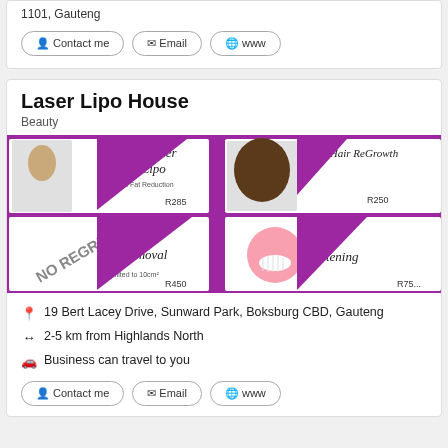1101, Gauteng
Contact me | Email | www
Laser Lipo House
Beauty
[Figure (photo): Promotional image showing beauty treatment cards: Laser Lipo R285, Laser Hair ReGrowth R250, Tattoo Removal R450, Tooth Whitening R75]
19 Bert Lacey Drive, Sunward Park, Boksburg CBD, Gauteng
2-5 km from Highlands North
Business can travel to you
Contact me | Email | www